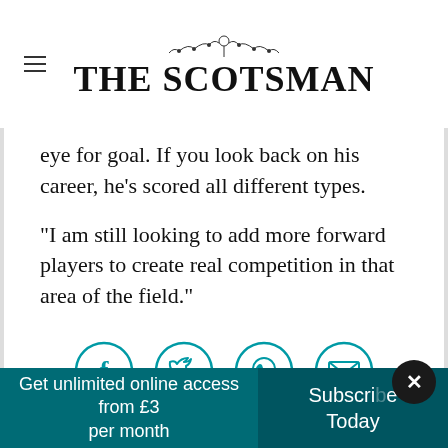THE SCOTSMAN
eye for goal. If you look back on his career, he's scored all different types.
“I am still looking to add more forward players to create real competition in that area of the field.”
[Figure (infographic): Social sharing icons: Facebook, Twitter, WhatsApp, Email — teal outlined circles]
Get unlimited online access from £3 per month
Subscribe Today